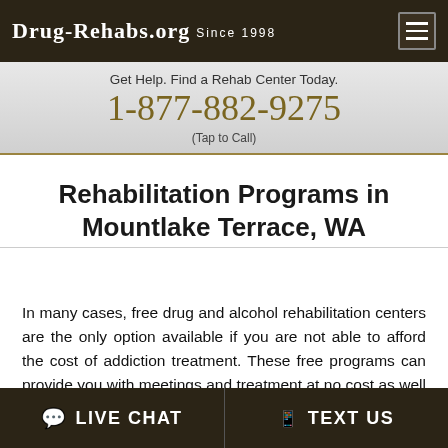Drug-Rehabs.org Since 1998
Get Help. Find a Rehab Center Today.
1-877-882-9275
(Tap to Call)
Rehabilitation Programs in Mountlake Terrace, WA
In many cases, free drug and alcohol rehabilitation centers are the only option available if you are not able to afford the cost of addiction treatment. These free programs can provide you with meetings and treatment at no cost as well as offer you a safe haven in which to end your substance abuse and addiction.
LIVE CHAT   TEXT US